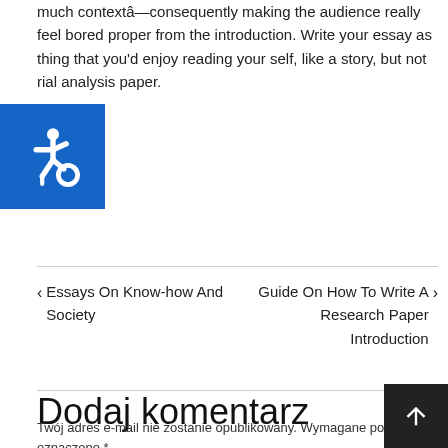much contextâconsequently making the audience really feel bored proper from the introduction. Write your essay as thing that you'd enjoy reading your self, like a story, but not rial analysis paper.
[Figure (logo): Blue square accessibility icon with wheelchair symbol in white]
‹ Essays On Know-how And Society    Guide On How To Write A Research Paper Introduction ›
Dodaj komentarz
Twój adres e-mail nie zostanie opublikowany. Wymagane pola są oznaczone *